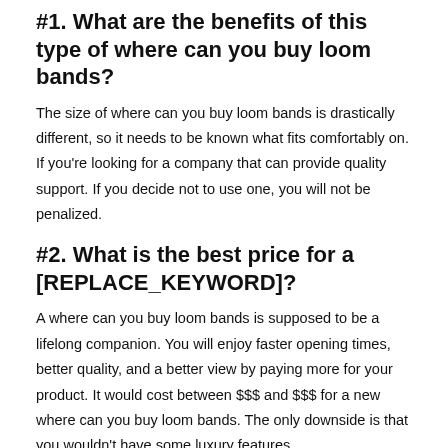#1. What are the benefits of this type of where can you buy loom bands?
The size of where can you buy loom bands is drastically different, so it needs to be known what fits comfortably on. If you're looking for a company that can provide quality support. If you decide not to use one, you will not be penalized.
#2. What is the best price for a [REPLACE_KEYWORD]?
A where can you buy loom bands is supposed to be a lifelong companion. You will enjoy faster opening times, better quality, and a better view by paying more for your product. It would cost between $$$ and $$$ for a new where can you buy loom bands. The only downside is that you wouldn't have some luxury features.
A Word Of Finality